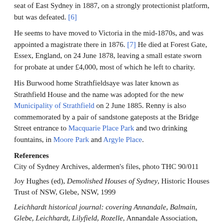seat of East Sydney in 1887, on a strongly protectionist platform, but was defeated. [6]
He seems to have moved to Victoria in the mid-1870s, and was appointed a magistrate there in 1876. [7] He died at Forest Gate, Essex, England, on 24 June 1878, leaving a small estate sworn for probate at under £4,000, most of which he left to charity.
His Burwood home Strathfieldsaye was later known as Strathfield House and the name was adopted for the new Municipality of Strathfield on 2 June 1885. Renny is also commemorated by a pair of sandstone gateposts at the Bridge Street entrance to Macquarie Place Park and two drinking fountains, in Moore Park and Argyle Place.
References
City of Sydney Archives, aldermen's files, photo THC 90/011
Joy Hughes (ed), Demolished Houses of Sydney, Historic Houses Trust of NSW, Glebe, NSW, 1999
Leichhardt historical journal: covering Annandale, Balmain, Glebe, Leichhardt, Lilyfield, Rozelle, Annandale Association, Balmain Association, Glebe Society, Sydney, vol 12, 1983